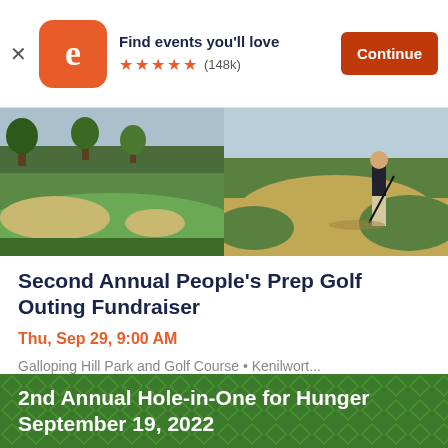[Figure (screenshot): Eventbrite app banner with logo, 'Find events you'll love', five orange stars, (148k) reviews, and a Continue button]
[Figure (photo): Two side-by-side golf course photos: left shows green fairway with sand bunkers and trees; right shows a golfer putting on a course]
Second Annual People's Prep Golf Outing Fundraiser
Thu, Sep 29, 9:00 AM
Galloping Hill Park and Golf Course • Kenilwort...
$70 - $10,000
[Figure (screenshot): Bottom of page showing green banner with text '2nd Annual Hole-in-One for Hunger September 19, 2022' with diamond pattern background]